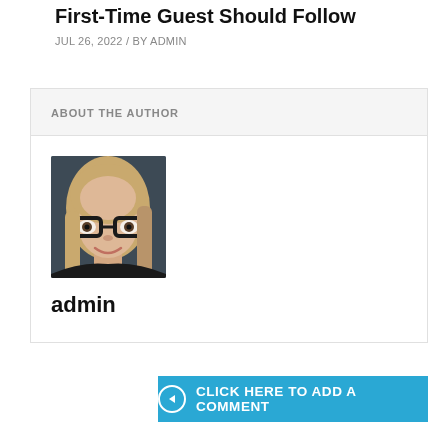First-Time Guest Should Follow
JUL 26, 2022 / BY ADMIN
ABOUT THE AUTHOR
[Figure (photo): Portrait photo of a woman with long blonde hair and black-framed glasses, smiling, wearing a dark top]
admin
CLICK HERE TO ADD A COMMENT